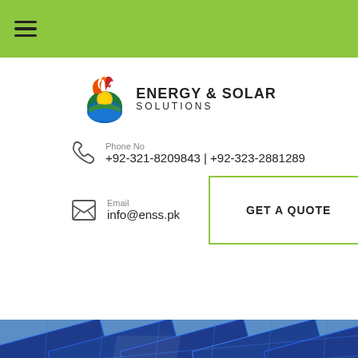[Figure (logo): Energy & Solar Solutions logo with flame/sun droplet icon]
Phone No
+92-321-8209843 | +92-323-2881289
Email
info@enss.pk
GET A QUOTE
[Figure (photo): Solar panels on rooftop under blue sky]
Author: admin